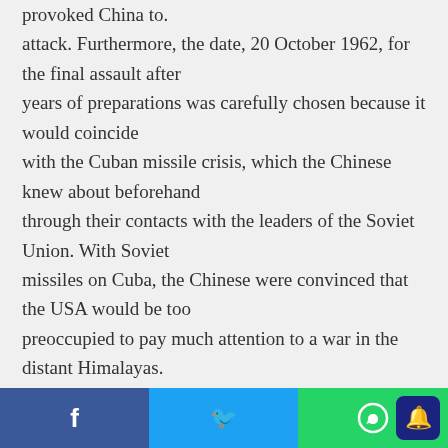provoked China to. attack. Furthermore, the date, 20 October 1962, for the final assault after years of preparations was carefully chosen because it would coincide with the Cuban missile crisis, which the Chinese knew about beforehand through their contacts with the leaders of the Soviet Union. With Soviet missiles on Cuba, the Chinese were convinced that the USA would be too preoccupied to pay much attention to a war in the distant Himalayas. Given the increasingly hostile relations between China and the Soviet
Facebook | Twitter | WhatsApp